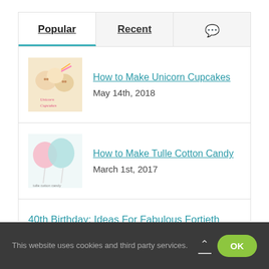Popular | Recent | [chat icon]
How to Make Unicorn Cupcakes
May 14th, 2018
How to Make Tulle Cotton Candy
March 1st, 2017
40th Birthday: Ideas For Fabulous Fortieth Festivities
February 11th, 2014
This website uses cookies and third party services. OK